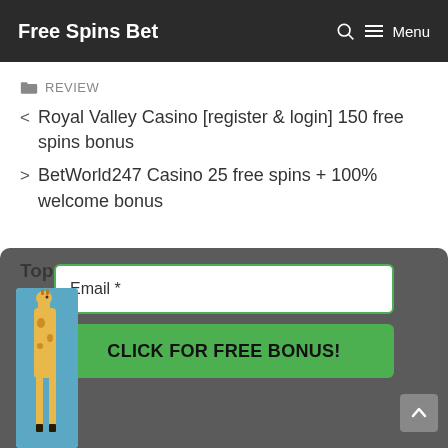Free Spins Bet   🔍  ☰ Menu
🗂 REVIEW
< Royal Valley Casino [register & login] 150 free spins bonus
> BetWorld247 Casino 25 free spins + 100% welcome bonus
Top Promos
[Figure (screenshot): Email signup form with green-bordered email input field labeled 'Email *' and a green 'CLICK FOR FREE BONUS!' button, overlaid on a dark semi-transparent popup. A partial giraffe image is visible on the left side.]